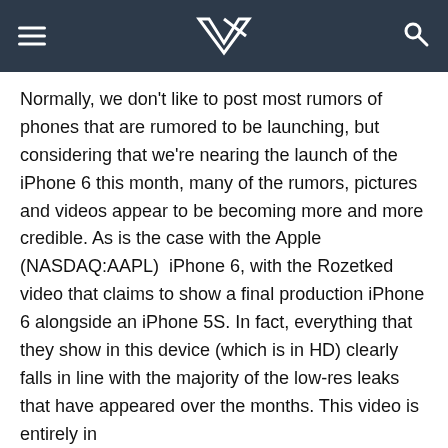VR logo with hamburger menu and search icon
Normally, we don't like to post most rumors of phones that are rumored to be launching, but considering that we're nearing the launch of the iPhone 6 this month, many of the rumors, pictures and videos appear to be becoming more and more credible. As is the case with the Apple (NASDAQ:AAPL)  iPhone 6, with the Rozetked video that claims to show a final production iPhone 6 alongside an iPhone 5S. In fact, everything that they show in this device (which is in HD) clearly falls in line with the majority of the low-res leaks that have appeared over the months. This video is entirely in
This website uses cookies to improve your experience. We'll assume you're ok with this, but you can opt-out if you wish.
Accept  Read More